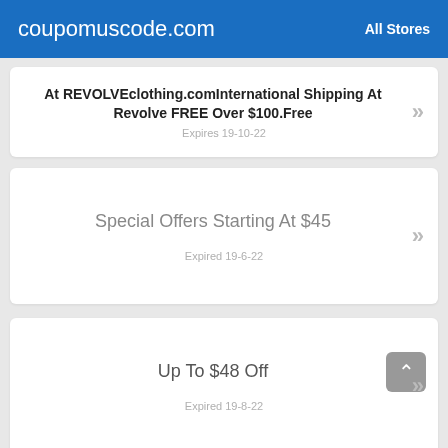coupomuscode.com | All Stores
At REVOLVEclothing.comInternational Shipping At Revolve FREE Over $100.Free
Expires 19-10-22
Special Offers Starting At $45
Expired 19-6-22
Up To $48 Off
Expired 19-8-22
Save $36 On Your Online Purchase